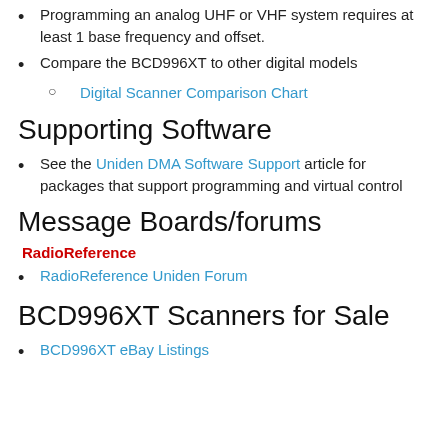Programming an analog UHF or VHF system requires at least 1 base frequency and offset.
Compare the BCD996XT to other digital models
Digital Scanner Comparison Chart
Supporting Software
See the Uniden DMA Software Support article for packages that support programming and virtual control
Message Boards/forums
RadioReference
RadioReference Uniden Forum
BCD996XT Scanners for Sale
BCD996XT eBay Listings